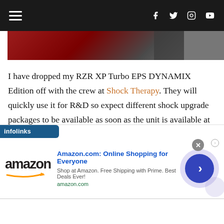Navigation bar with hamburger menu and social icons (Facebook, Twitter, Instagram, YouTube)
[Figure (photo): Partial image strip showing a dark red/maroon colored vehicle or scene, cropped at top]
I have dropped my RZR XP Turbo EPS DYNAMIX Edition off with the crew at Shock Therapy. They will quickly use it for R&D so expect different shock upgrade packages to be available as soon as the unit is available at dealers.
Stay tuned because we plan to do quite a bit more testing on this unit after the shock upgrade.
[Figure (infographic): Infolinks advertisement banner featuring Amazon.com: Online Shopping for Everyone. Shop at Amazon. Free Shipping with Prime. Best Deals Ever! amazon.com. Shows Amazon logo with orange arrow, and a blue circular arrow button.]